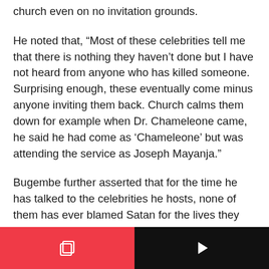church even on no invitation grounds.
He noted that, “Most of these celebrities tell me that there is nothing they haven’t done but I have not heard from anyone who has killed someone. Surprising enough, these eventually come minus anyone inviting them back. Church calms them down for example when Dr. Chameleone came, he said he had come as ‘Chameleone’ but was attending the service as Joseph Mayanja.”
Bugembe further asserted that for the time he has talked to the celebrities he hosts, none of them has ever blamed Satan for the lives they endure. He says most of them were once in church, love God so much (which most people don’t know of) but later on along the way backslid
[Figure (other): Mobile app bottom navigation bar: left half is red/coral with a copy/layers icon, right half is black with a play button icon.]